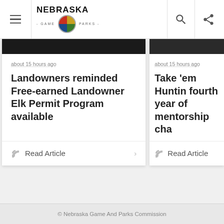Nebraska Game & Parks
about 15 hours ago
Landowners reminded Free-earned Landowner Elk Permit Program available
Read Article
about 15 hours ago
Take 'em Huntin fourth year of mentorship cha
Read Article
Return to Home
© Nebraska Game And Parks Commission